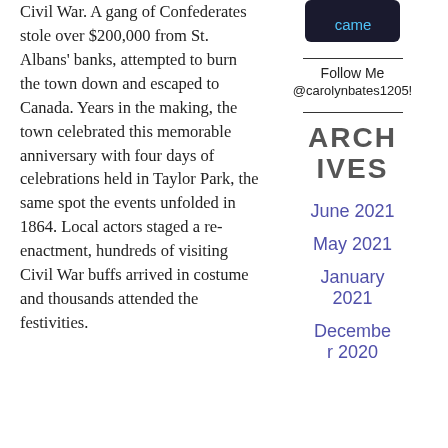Civil War. A gang of Confederates stole over $200,000 from St. Albans' banks, attempted to burn the town down and escaped to Canada. Years in the making, the town celebrated this memorable anniversary with four days of celebrations held in Taylor Park, the same spot the events unfolded in 1864. Local actors staged a re-enactment, hundreds of visiting Civil War buffs arrived in costume and thousands attended the festivities.
[Figure (screenshot): Partial image of a phone or app screenshot showing 'came' text on dark background]
Follow Me
@carolynbates1205!
ARCHIVES
June 2021
May 2021
January 2021
December 2020